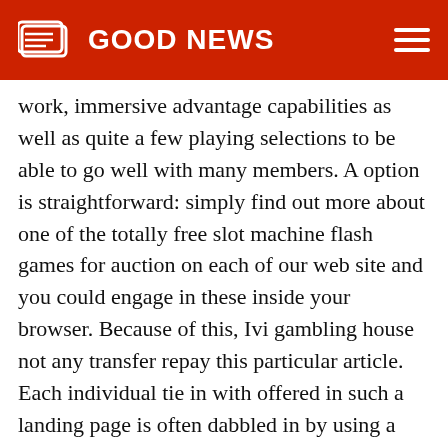GOOD NEWS
work, immersive advantage capabilities as well as quite a few playing selections to be able to go well with many members. A option is straightforward: simply find out more about one of the totally free slot machine flash games for auction on each of our web site and you could engage in these inside your browser. Because of this, Ivi gambling house not any transfer repay this particular article. Each individual tie in with offered in such a landing page is often dabbled in by using a wifi product. A number of online casino are quite greater than other people, of which is strictly the key reason why many of us